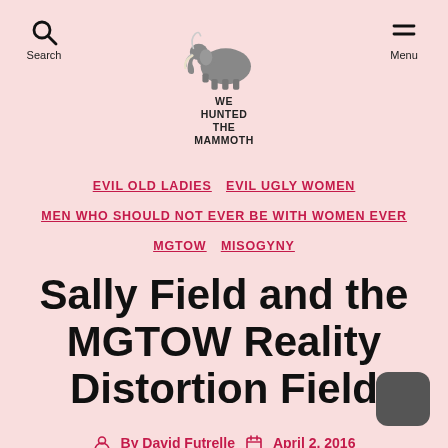WE HUNTED THE MAMMOTH — Search | Menu
EVIL OLD LADIES  EVIL UGLY WOMEN  MEN WHO SHOULD NOT EVER BE WITH WOMEN EVER  MGTOW  MISOGYNY
Sally Field and the MGTOW Reality Distortion Field
By David Futrelle   April 2, 2016   130 Comments